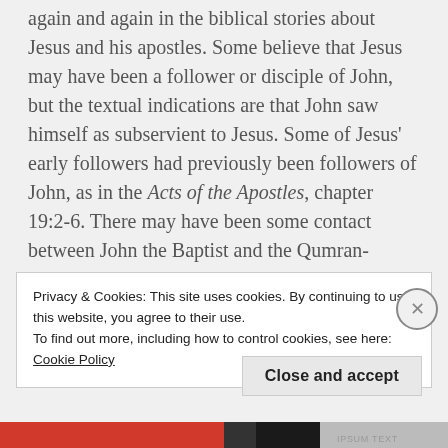again and again in the biblical stories about Jesus and his apostles. Some believe that Jesus may have been a follower or disciple of John, but the textual indications are that John saw himself as subservient to Jesus. Some of Jesus' early followers had previously been followers of John, as in the Acts of the Apostles, chapter 19:2-6. There may have been some contact between John the Baptist and the Qumran-Essene community, where the Dead Sea Scrolls were found. Thus, John might have been
Privacy & Cookies: This site uses cookies. By continuing to use this website, you agree to their use.
To find out more, including how to control cookies, see here: Cookie Policy
Close and accept